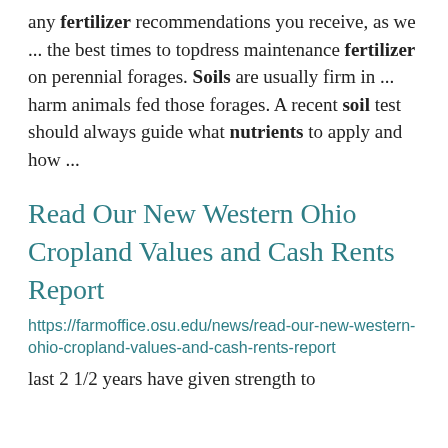any fertilizer recommendations you receive, as we ... the best times to topdress maintenance fertilizer on perennial forages. Soils are usually firm in ... harm animals fed those forages. A recent soil test should always guide what nutrients to apply and how ...
Read Our New Western Ohio Cropland Values and Cash Rents Report
https://farmoffice.osu.edu/news/read-our-new-western-ohio-cropland-values-and-cash-rents-report
last 2 1/2 years have given strength to